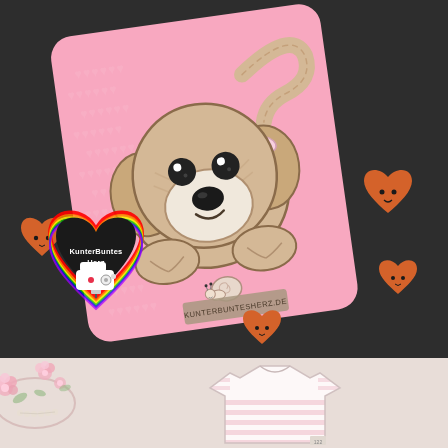[Figure (photo): Top section: dark charcoal background with a pink fabric pillow/cushion featuring an embroidered cute puppy dog appliqué with a bow and a small snail. Orange wooden heart-shaped button decorations scattered around. Bottom-left features the KunterBuntesHerz logo in a rainbow-outlined heart with a white sewing machine icon. Bottom section shows a light pink/white striped baby t-shirt with pink flowers.]